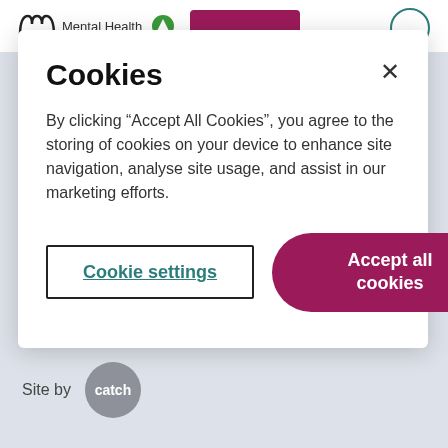[Figure (screenshot): Mental Health website header with logo, navigation button, and circle icon]
Cookies
By clicking “Accept All Cookies”, you agree to the storing of cookies on your device to enhance site navigation, analyse site usage, and assist in our marketing efforts.
Cookie settings
Accept all cookies
Site by catch